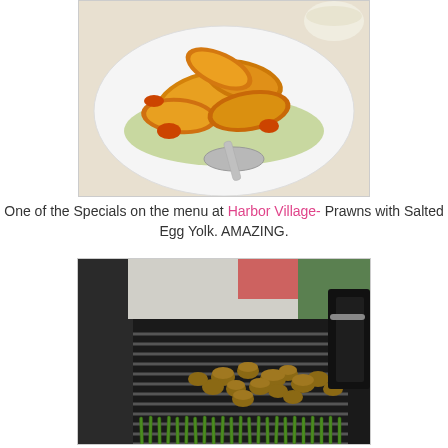[Figure (photo): Plate of fried prawns with salted egg yolk coating on a white plate with a spoon, restaurant setting]
One of the Specials on the menu at Harbor Village- Prawns with Salted Egg Yolk. AMAZING.
[Figure (photo): Grilling grate with mushrooms and green beans (asparagus) on a dark BBQ grill, outdoor setting]